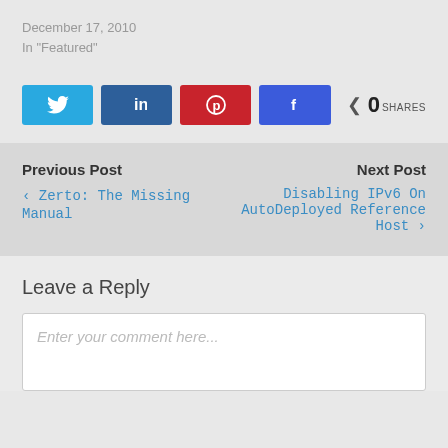December 17, 2010
In "Featured"
[Figure (other): Social share buttons: Twitter, LinkedIn, Pinterest, Facebook, with 0 shares count]
Previous Post
< Zerto: The Missing Manual
Next Post
Disabling IPv6 On AutoDeployed Reference Host >
Leave a Reply
Enter your comment here...